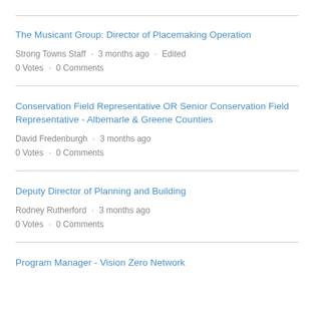The Musicant Group: Director of Placemaking Operation
Strong Towns Staff · 3 months ago · Edited
0 Votes · 0 Comments
Conservation Field Representative OR Senior Conservation Field Representative - Albemarle & Greene Counties
David Fredenburgh · 3 months ago
0 Votes · 0 Comments
Deputy Director of Planning and Building
Rodney Rutherford · 3 months ago
0 Votes · 0 Comments
Program Manager - Vision Zero Network